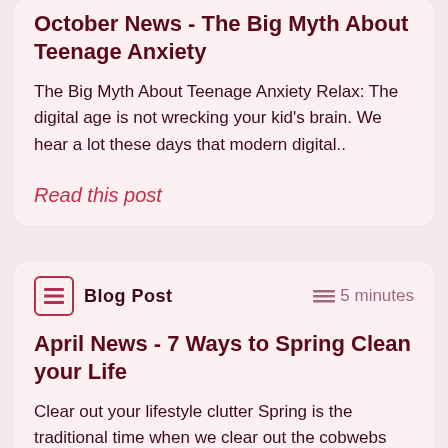October News - The Big Myth About Teenage Anxiety
The Big Myth About Teenage Anxiety Relax: The digital age is not wrecking your kid's brain. We hear a lot these days that modern digital..
Read this post
Blog Post   ≡ 5 minutes
April News - 7 Ways to Spring Clean your Life
Clear out your lifestyle clutter Spring is the traditional time when we clear out the cobwebs and start afresh. This year, why not extend the..